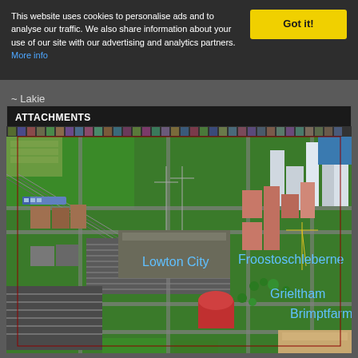This website uses cookies to personalise ads and to analyse our traffic. We also share information about your use of our site with our advertising and analytics partners. More info
Got it!
~ Lakie
ATTACHMENTS
[Figure (screenshot): OpenTTD city-builder game screenshot showing an isometric view of a city with roads, railways, train stations, buildings, and green areas. A large railway hub/marshalling yard is visible in the center, with dense urban areas on the right and rail infrastructure on the left.]